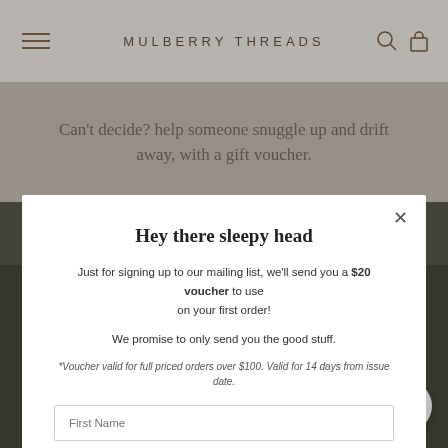MULBERRY THREADS
Can't decide? help someone snuggle up and drift away, with a gift voucher.
Hey there sleepy head
Just for signing up to our mailing list, we'll send you a $20 voucher to use on your first order!
We promise to only send you the good stuff.
*Voucher valid for full priced orders over $100. Valid for 14 days from issue date.
First Name
Enter your email address
SUBSCRIBE
FAQs
Care
Stockists